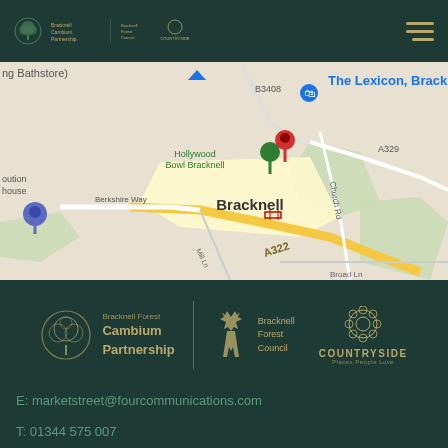[Figure (logo): Bracknell Forest Cambium Partnership logos in header]
[Figure (map): Google Maps screenshot showing Bracknell area with The Lexicon Bracknell marked, showing roads A322, A329, B3408, Hollywood Bowl Bracknell, Berkshire Way, Mill Ln, Church Rd, Broad Ln]
[Figure (logo): Bracknell Forest Cambium Partnership, Bracknell Forest Council, and Countryside Places People Love logos in footer]
E: marketstreet@fourcommunications.com
T: 01344 575 007